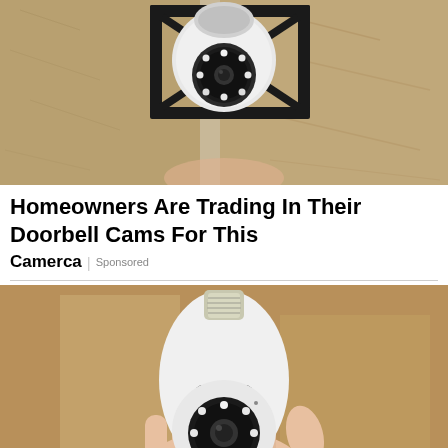[Figure (photo): A security camera mounted on a wall bracket outdoors, showing a light-bulb-style security camera with LED ring attached to a black metal bracket on a textured stucco wall.]
Homeowners Are Trading In Their Doorbell Cams For This
Camerca | Sponsored
[Figure (photo): A hand holding a white light-bulb-style security camera with a camera lens and LED ring, with a screw base at the top, photographed against a brown/cardboard background.]